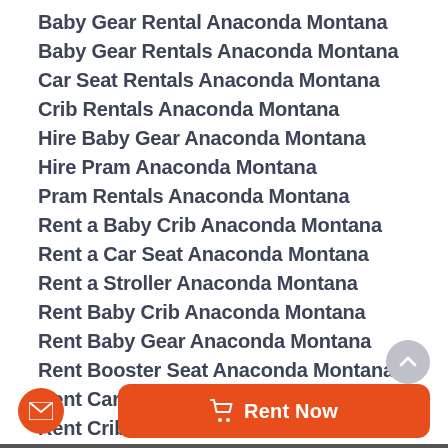Baby Gear Rental Anaconda Montana
Baby Gear Rentals Anaconda Montana
Car Seat Rentals Anaconda Montana
Crib Rentals Anaconda Montana
Hire Baby Gear Anaconda Montana
Hire Pram Anaconda Montana
Pram Rentals Anaconda Montana
Rent a Baby Crib Anaconda Montana
Rent a Car Seat Anaconda Montana
Rent a Stroller Anaconda Montana
Rent Baby Crib Anaconda Montana
Rent Baby Gear Anaconda Montana
Rent Booster Seat Anaconda Montana
Rent Car Seat Anaconda Montana
Rent Crib Anaconda Montana
Stroller Rentals Anaconda Montana